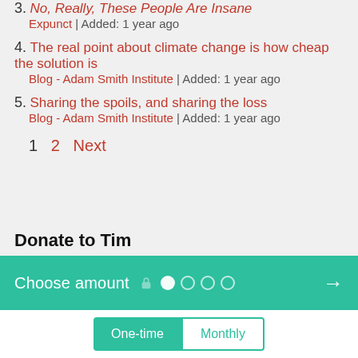3. No, Really, These People Are Insane
Expunct | Added: 1 year ago
4. The real point about climate change is how cheap the solution is
Blog - Adam Smith Institute | Added: 1 year ago
5. Sharing the spoils, and sharing the loss
Blog - Adam Smith Institute | Added: 1 year ago
1  2  Next
Donate to Tim
[Figure (infographic): Donation widget with 'Choose amount' header in teal, step indicator dots (lock icon, filled dot, three empty circles), right arrow, and below: One-time and Monthly buttons]